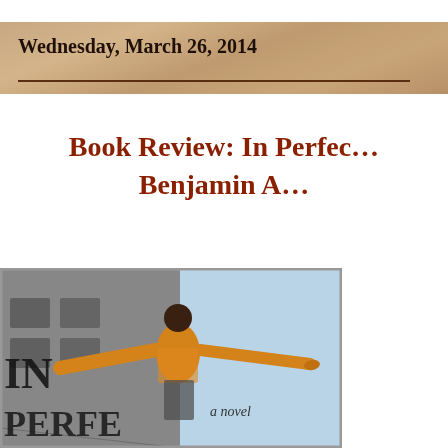Wednesday, March 26, 2014
Book Review: In Perfect... Benjamin A...
[Figure (photo): Book cover showing a person in a yellow shirt with arms outstretched, text 'IN' and 'PERFE...' visible on left side, 'a novel' on right side, split between grayscale left half and light blue right half]